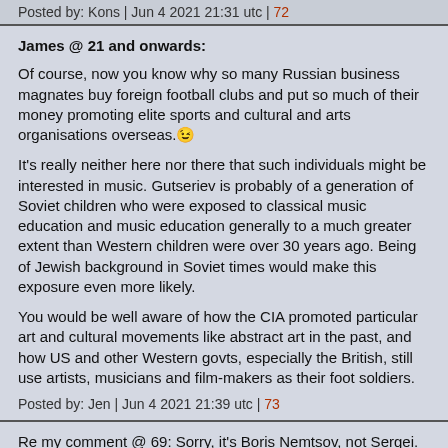Posted by: Kons | Jun 4 2021 21:31 utc | 72
James @ 21 and onwards:
Of course, now you know why so many Russian business magnates buy foreign football clubs and put so much of their money promoting elite sports and cultural and arts organisations overseas.😊
It's really neither here nor there that such individuals might be interested in music. Gutseriev is probably of a generation of Soviet children who were exposed to classical music education and music education generally to a much greater extent than Western children were over 30 years ago. Being of Jewish background in Soviet times would make this exposure even more likely.
You would be well aware of how the CIA promoted particular art and cultural movements like abstract art in the past, and how US and other Western govts, especially the British, still use artists, musicians and film-makers as their foot soldiers.
Posted by: Jen | Jun 4 2021 21:39 utc | 73
Re my comment @ 69: Sorry, it's Boris Nemtsov, not Sergei.
Posted by: Jen | Jun 4 2021 21:41 utc | 74